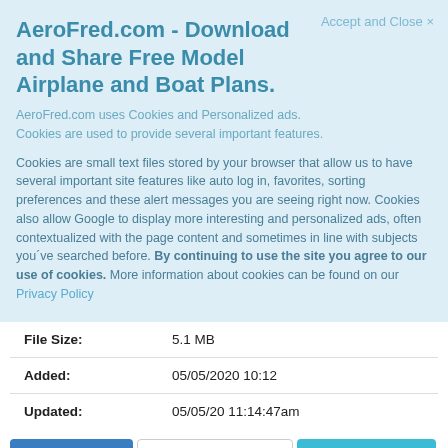AeroFred.com - Download and Share Free Model Airplane and Boat Plans.
Accept and Close ×
AeroFred.com uses Cookies and Personalized ads.
Cookies are used to provide several important features.
Cookies are small text files stored by your browser that allow us to have several important site features like auto log in, favorites, sorting preferences and these alert messages you are seeing right now. Cookies also allow Google to display more interesting and personalized ads, often contextualized with the page content and sometimes in line with subjects you´ve searched before. By continuing to use the site you agree to our use of cookies. More information about cookies can be found on our Privacy Policy
| File Size: | 5.1 MB |
| Added: | 05/05/2020 10:12 |
| Updated: | 05/05/20 11:14:47am |
Plan Page | Add to Favorites | Quote Prints